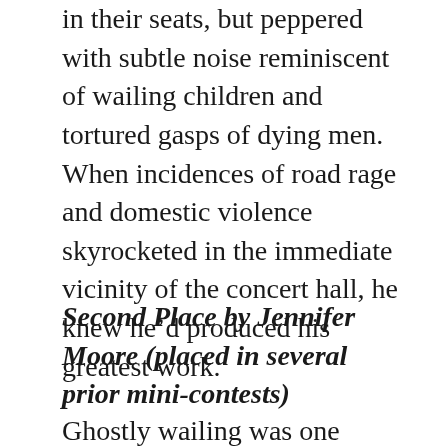in their seats, but peppered with subtle noise reminiscent of wailing children and tortured gasps of dying men. When incidences of road rage and domestic violence skyrocketed in the immediate vicinity of the concert hall, he knew he'd produced his greatest work.
Second Place by Jennifer Moore (placed in several prior mini-contests)
Ghostly wailing was one thing,